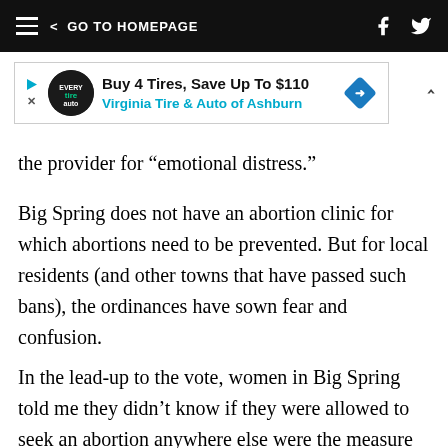≡  < GO TO HOMEPAGE  [facebook] [twitter]
[Figure (other): Advertisement banner: Buy 4 Tires, Save Up To $110 — Virginia Tire & Auto of Ashburn, with a logo and blue diamond arrow icon]
the provider for “emotional distress.”
Big Spring does not have an abortion clinic for which abortions need to be prevented. But for local residents (and other towns that have passed such bans), the ordinances have sown fear and confusion.
In the lead-up to the vote, women in Big Spring told me they didn’t know if they were allowed to seek an abortion anywhere else were the measure to pass, or if they could be punished for